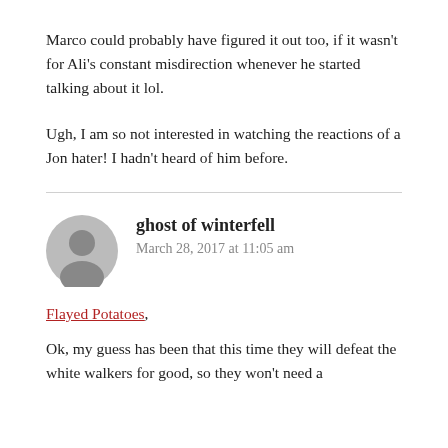Marco could probably have figured it out too, if it wasn't for Ali's constant misdirection whenever he started talking about it lol.
Ugh, I am so not interested in watching the reactions of a Jon hater! I hadn't heard of him before.
ghost of winterfell
March 28, 2017 at 11:05 am
Flayed Potatoes,
Ok, my guess has been that this time they will defeat the white walkers for good, so they won't need a